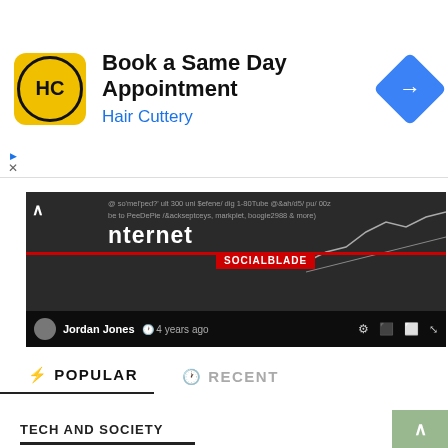[Figure (infographic): Hair Cuttery advertisement banner with HC logo, 'Book a Same Day Appointment' headline, 'Hair Cuttery' subtext in blue, and a blue diamond navigation icon]
[Figure (screenshot): Video thumbnail showing Social Blade internet chart, with text overlay showing 'internet', 'SOCIALBLADE', and video controls showing 'Jordan Jones © 4 years ago' with settings icons. A collapse/expand chevron is visible.]
⚡ POPULAR
🕐 RECENT
TECH AND SOCIETY